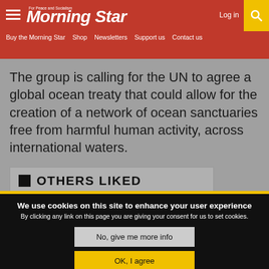Morning Star — For Peace and Socialism | Log in | Buy the Morning Star | Shop | Newsletters | Support us | Contact us
The group is calling for the UN to agree a global ocean treaty that could allow for the creation of a network of ocean sanctuaries free from harmful human activity, across international waters.
OTHERS LIKED
We use cookies on this site to enhance your user experience By clicking any link on this page you are giving your consent for us to set cookies.
No, give me more info
OK, I agree